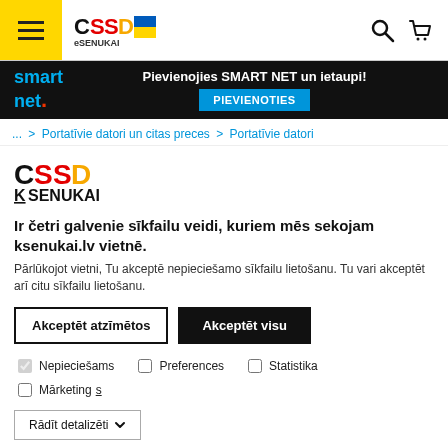[Figure (screenshot): CSSD eSENUKAI website header with hamburger menu, logo, search and cart icons]
[Figure (infographic): Smart Net promotional banner: 'Pievienojies SMART NET un ietaupi!' with PIEVIENOTIES button]
... > Portatīvie datori un citas preces > Portatīvie datori
[Figure (logo): CSSD K SENUKAI brand logo]
Ir četri galvenie sīkfailu veidi, kuriem mēs sekojam ksenukai.lv vietnē.
Pārlūkojot vietni, Tu akceptē nepieciešamo sīkfailu lietošanu. Tu vari akceptēt arī citu sīkfailu lietošanu.
Akceptēt atzīmētos | Akceptēt visu
Nepieciešams  Preferences  Statistika  Mārketing
Rādīt detalizēti